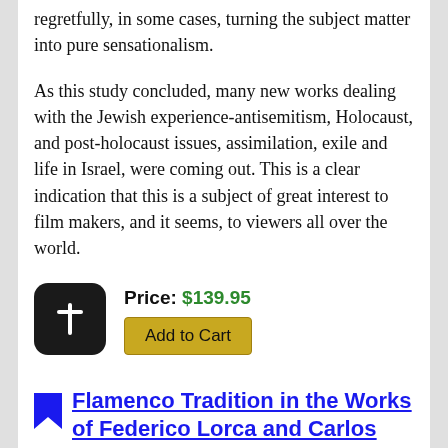regretfully, in some cases, turning the subject matter into pure sensationalism.
As this study concluded, many new works dealing with the Jewish experience-antisemitism, Holocaust, and post-holocaust issues, assimilation, exile and life in Israel, were coming out. This is a clear indication that this is a subject of great interest to film makers, and it seems, to viewers all over the world.
Price: $139.95
Add to Cart
Flamenco Tradition in the Works of Federico Lorca and Carlos Saura: The Wounded Throat